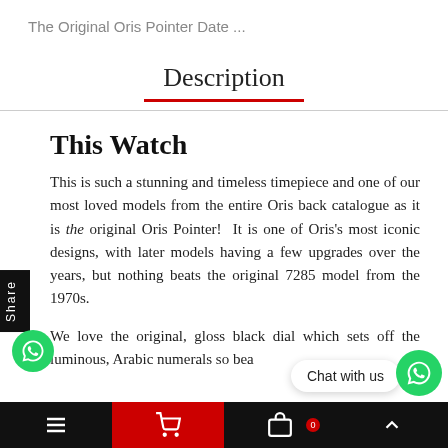The Original Oris Pointer Date ...
Description
This Watch
This is such a stunning and timeless timepiece and one of our most loved models from the entire Oris back catalogue as it is the original Oris Pointer! It is one of Oris's most iconic designs, with later models having a few upgrades over the years, but nothing beats the original 7285 model from the 1970s.
We love the original, gloss black dial which sets off the luminous, Arabic numerals so bea...